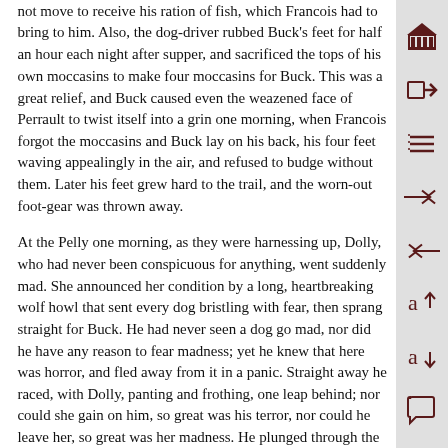not move to receive his ration of fish, which Francois had to bring to him. Also, the dog-driver rubbed Buck's feet for half an hour each night after supper, and sacrificed the tops of his own moccasins to make four moccasins for Buck. This was a great relief, and Buck caused even the weazened face of Perrault to twist itself into a grin one morning, when Francois forgot the moccasins and Buck lay on his back, his four feet waving appealingly in the air, and refused to budge without them. Later his feet grew hard to the trail, and the worn-out foot-gear was thrown away.
At the Pelly one morning, as they were harnessing up, Dolly, who had never been conspicuous for anything, went suddenly mad. She announced her condition by a long, heartbreaking wolf howl that sent every dog bristling with fear, then sprang straight for Buck. He had never seen a dog go mad, nor did he have any reason to fear madness; yet he knew that here was horror, and fled away from it in a panic. Straight away he raced, with Dolly, panting and frothing, one leap behind; nor could she gain on him, so great was his terror, nor could he leave her, so great was her madness. He plunged through the wooded breast of the island, flew down to the lower end, crossed a back channel filled with rough ice to another island, gained a third island, curved back to the main river, and in desperation started to cross it. And all the time, though he did not look, he could hear her snarling just one leap behind. Francois called to him a quarter of a mile away and he doubled back, still one leap ahead, gasping painfully for air and putting all his faith in that